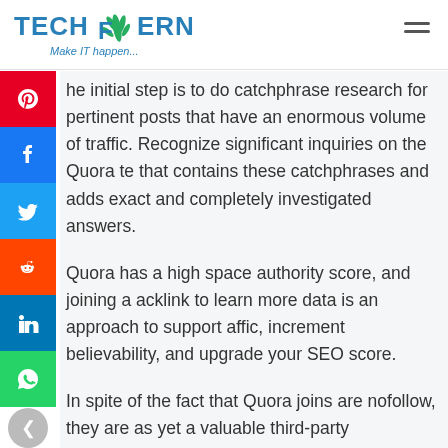[Figure (logo): TechFern logo with fern leaf icon and tagline 'Make IT happen...']
The initial step is to do catchphrase research for pertinent posts that have an enormous volume of traffic. Recognize significant inquiries on the Quora site that contains these catchphrases and adds exact and completely investigated answers.
Quora has a high space authority score, and joining a backlink to learn more data is an approach to support traffic, increment believability, and upgrade your SEO score.
In spite of the fact that Quora joins are nofollow, they are as yet a valuable third-party referencing technique and assist with supporting legitimate